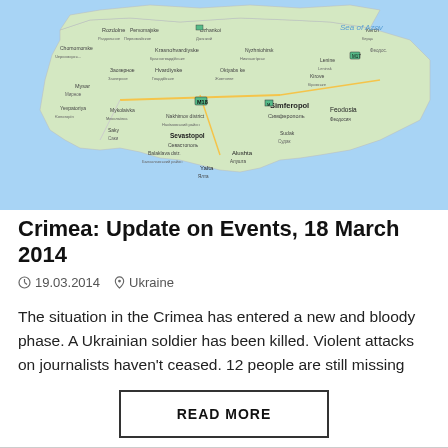[Figure (map): Map of Crimea peninsula showing cities, towns and geographic features including Sevastopol, Simferopol, Feodosia, Yalta, Balaklava, Nakhimov district, Sea of Azov. Labels in Russian and English.]
Crimea: Update on Events, 18 March 2014
19.03.2014   Ukraine
The situation in the Crimea has entered a new and bloody phase. A Ukrainian soldier has been killed. Violent attacks on journalists haven't ceased. 12 people are still missing
READ MORE